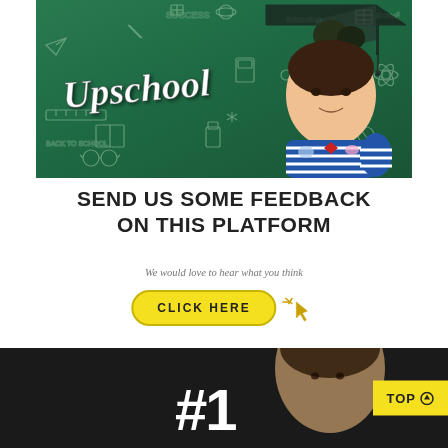[Figure (photo): Girl lying on green chalkboard background wearing graduation cap, with 'Upschool' cursive text overlay and chalk doodles of education symbols]
SEND US SOME FEEDBACK ON THIS PLATFORM
We would love to hear what you think
[Figure (infographic): Yellow pill-shaped button with 'CLICK HERE' text and cursor/sparkle icon]
[Figure (photo): Dark background with '#1' text in white and partial image of a child, with yellow 'TOP ⊙' button in bottom right corner]